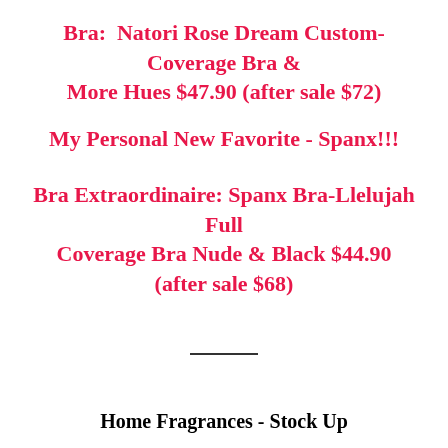Bra:  Natori Rose Dream Custom-Coverage Bra & More Hues $47.90 (after sale $72)
My Personal New Favorite - Spanx!!!
Bra Extraordinaire: Spanx Bra-Llelujah Full Coverage Bra Nude & Black $44.90 (after sale $68)
Home Fragrances - Stock Up